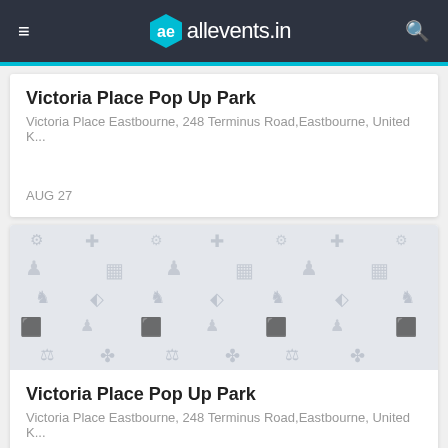allevents.in
Victoria Place Pop Up Park
Victoria Place Eastbourne, 248 Terminus Road,Eastbourne, United K...
AUG 27
[Figure (illustration): Placeholder image with repeating event-related icons on a light grey background]
Victoria Place Pop Up Park
Victoria Place Eastbourne, 248 Terminus Road,Eastbourne, United K...
AUG 28